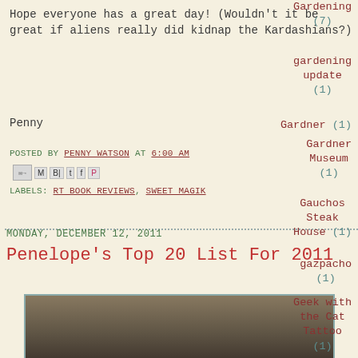Hope everyone has a great day! (Wouldn't it be great if aliens really did kidnap the Kardashians?)
Penny
POSTED BY PENNY WATSON AT 6:00 AM
LABELS: RT BOOK REVIEWS, SWEET MAGIK
MONDAY, DECEMBER 12, 2011
Penelope's Top 20 List For 2011
[Figure (photo): Photo of a person, partially visible at bottom of page]
Gardening (7)
gardening update (1)
Gardner (1)
Gardner Museum (1)
Gauchos Steak House (1)
gazpacho (1)
Geek with the Cat Tattoo (1)